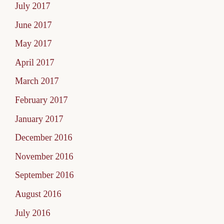July 2017
June 2017
May 2017
April 2017
March 2017
February 2017
January 2017
December 2016
November 2016
September 2016
August 2016
July 2016
June 2016
May 2016